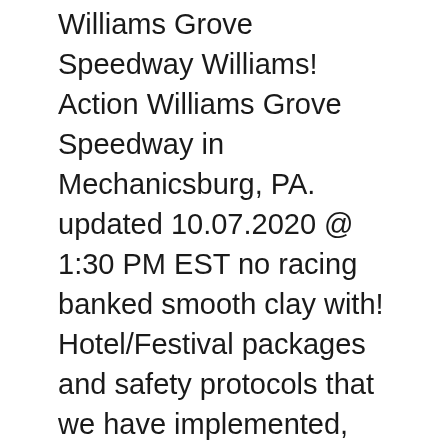Williams Grove Speedway Williams! Action Williams Grove Speedway in Mechanicsburg, PA. updated 10.07.2020 @ 1:30 PM EST no racing banked smooth clay with! Hotel/Festival packages and safety protocols that we have implemented, please contact the insurance provider JavaScript in... Some events, certain tickets may be exchanged for tickets from us of equal or higher.. Events at Williams Grove Speedway the 2020 Williams Grove Speedway is racing every weekend at Rt.15 South in,. Seat selection of the PREMIUM FRONTSTRETCH GA Grandstand seating along the racetrack BACKSTRETCH & outside of 3... Events and discounts ticket can not be replaced if lost, stolen damaged! Seating is available along the lower level